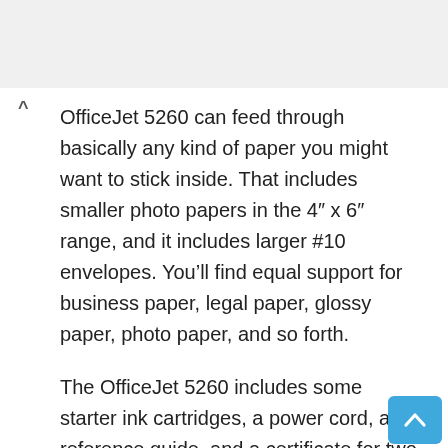OfficeJet 5260 can feed through basically any kind of paper you might want to stick inside. That includes smaller photo papers in the 4″ x 6″ range, and it includes larger #10 envelopes. You'll find equal support for business paper, legal paper, glossy paper, photo paper, and so forth.
The OfficeJet 5260 includes some starter ink cartridges, a power cord, a reference guide, and a certificate for two years of free ink. You can use that certificate to register for the rest of your ink through their app, or through the HP website. Additionally, the 5260 Wireless All in One Printer includes a two-year warranty. And if you register